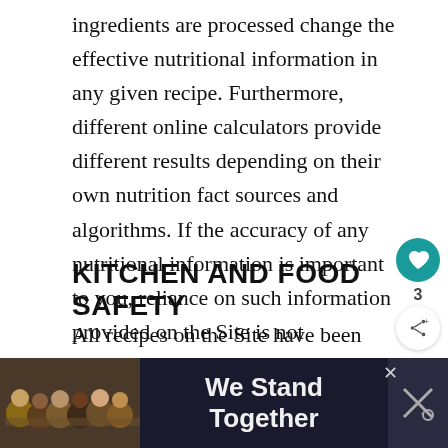ingredients are processed change the effective nutritional information in any given recipe. Furthermore, different online calculators provide different results depending on their own nutrition fact sources and algorithms. If the accuracy of any nutritional information is important to you, reliance on such information provided on the Site is not suggested.
KITCHEN AND FOOD SAFETY
All recipes on the Site have been tested in our kitchen and the information provided is accurate for the circumstances in which the recipe was
[Figure (infographic): What's Next banner showing Gingerbread Cherry Bars with a food photo thumbnail]
[Figure (infographic): Advertisement banner: We Stand Together with group photo and close buttons]